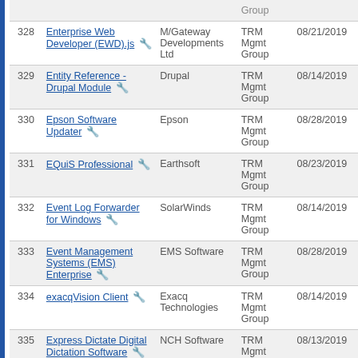| # | Name | Vendor | Reviewed By | Date |
| --- | --- | --- | --- | --- |
| 328 | Enterprise Web Developer (EWD).js | M/Gateway Developments Ltd | TRM Mgmt Group | 08/21/2019 |
| 329 | Entity Reference - Drupal Module | Drupal | TRM Mgmt Group | 08/14/2019 |
| 330 | Epson Software Updater | Epson | TRM Mgmt Group | 08/28/2019 |
| 331 | EQuiS Professional | Earthsoft | TRM Mgmt Group | 08/23/2019 |
| 332 | Event Log Forwarder for Windows | SolarWinds | TRM Mgmt Group | 08/14/2019 |
| 333 | Event Management Systems (EMS) Enterprise | EMS Software | TRM Mgmt Group | 08/28/2019 |
| 334 | exacqVision Client | Exacq Technologies | TRM Mgmt Group | 08/14/2019 |
| 335 | Express Dictate Digital Dictation Software | NCH Software | TRM Mgmt Group | 08/13/2019 |